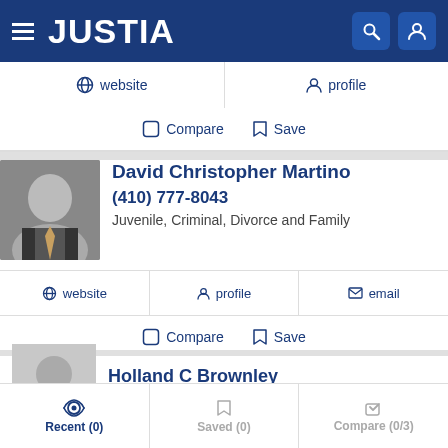JUSTIA
website  profile
Compare  Save
David Christopher Martino
(410) 777-8043
Juvenile, Criminal, Divorce and Family
website  profile  email
Compare  Save
Holland C Brownley
Recent (0)  Saved (0)  Compare (0/3)